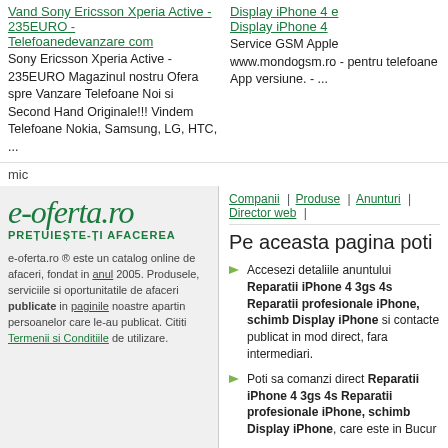Vand Sony Ericsson Xperia Active - 235EURO - Telefoanedevanzare com
Sony Ericsson Xperia Active - 235EURO Magazinul nostru Ofera spre Vanzare Telefoane Noi si Second Hand Originale!!! Vindem Telefoane Nokia, Samsung, LG, HTC, ...
Display iPhone 4 e Display iPhone 4
Service GSM Apple www.mondogsm.ro - pentru telefoane App versiune. - ...
mic
[Figure (logo): e-oferta.ro logo with tagline PRETUIESTE-TI AFACEREA]
e-oferta.ro ® este un catalog online de afaceri, fondat in anul 2005. Produsele, serviciile si oportunitatile de afaceri publicate in paginile noastre apartin persoanelor care le-au publicat. Cititi Termenii si Conditiile de utilizare.
Companii | Produse | Anunturi | Director web |
Pe aceasta pagina poti
Accesezi detaliile anuntului Reparatii iPhone 4 3gs 4s Reparatii profesionale iPhone, schimb Display iPhone si contacte publicat in mod direct, fara intermediari.
Poti sa comanzi direct Reparatii iPhone 4 3gs 4s Reparatii profesionale iPhone, schimb Display iPhone, care este in Bucuresti.
Pretul afisat de vanzator pentru Reparatii iPhone 4 3gs 4s Reparatii profesionale iPhone 10 RON.
Cauti firme care ofera produse sau